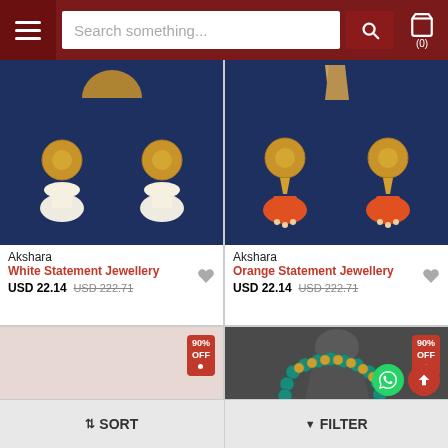Search something...
[Figure (photo): White jhumka earrings on a dark blue display stand - White Statement Jewellery by Akshara]
Akshara
White Statement Jewellery
USD 22.14  USD 222.71
[Figure (photo): Orange jhumka earrings on a dark blue display stand - Orange Statement Jewellery by Akshara]
Akshara
Orange Statement Jewellery
USD 22.14  USD 222.71
[Figure (photo): Pink/beige empty product card with 90% OFF badge]
[Figure (photo): Teal and gold beaded necklace on dark mannequin bust with 90% OFF badge]